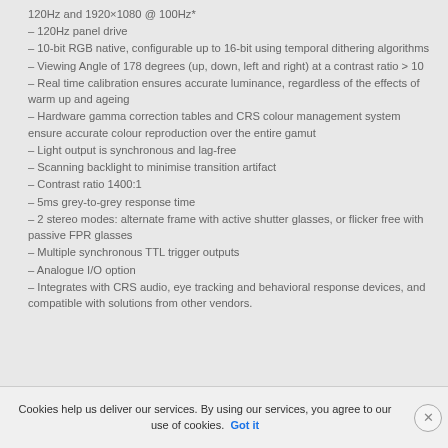120Hz and 1920×1080 @ 100Hz*
– 120Hz panel drive
– 10-bit RGB native, configurable up to 16-bit using temporal dithering algorithms
– Viewing Angle of 178 degrees (up, down, left and right) at a contrast ratio > 10
– Real time calibration ensures accurate luminance, regardless of the effects of warm up and ageing
– Hardware gamma correction tables and CRS colour management system ensure accurate colour reproduction over the entire gamut
– Light output is synchronous and lag-free
– Scanning backlight to minimise transition artifact
– Contrast ratio 1400:1
– 5ms grey-to-grey response time
– 2 stereo modes: alternate frame with active shutter glasses, or flicker free with passive FPR glasses
– Multiple synchronous TTL trigger outputs
– Analogue I/O option
– Integrates with CRS audio, eye tracking and behavioral response devices, and compatible with solutions from other vendors.
Cookies help us deliver our services. By using our services, you agree to our use of cookies. Got it